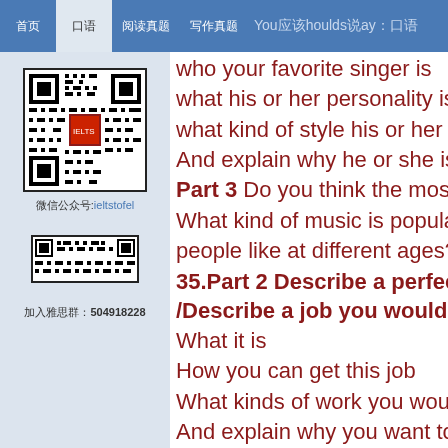You should say:
who your favorite singer is
what his or her personality is
what kind of style his or her music be
And explain why he or she is your fa
Part 3 Do you think the most popula
What kind of music is popular in Chi people like at different ages?
35.Part 2 Describe a perfect job you /Describe a job you would like to d
What it is
How you can get this job
What kinds of work you would do fo
And explain why you want to have it
Part3 Is it easy to find work (employ years in employment in your country changing jobs is a positive thing to